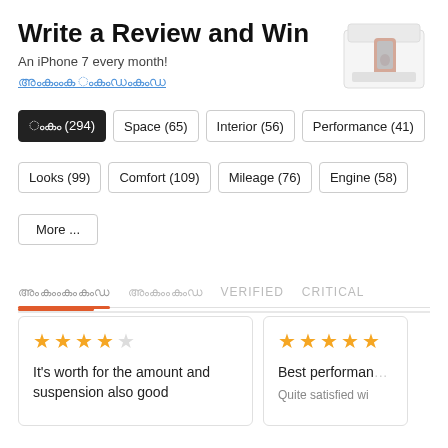Write a Review and Win
An iPhone 7 every month!
░░░░░░░ ░░░░░░░░░ (promo link in non-Latin script)
[Figure (photo): iPhone 7 box product image]
░░░ (294)
Space (65)
Interior (56)
Performance (41)
Looks (99)
Comfort (109)
Mileage (76)
Engine (58)
More ...
░░░░░░░░░░   ░░░░░░░░░   VERIFIED   CRITICAL
★★★★☆ It's worth for the amount and suspension also good
★★★★★ Best performance   Quite satisfied wi...